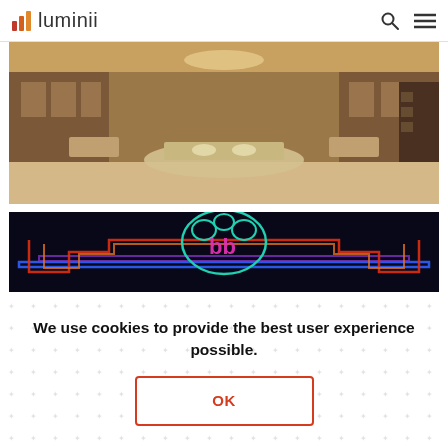luminii
[Figure (photo): Interior of a luxury jewelry store with warm wood paneling, display cases, and jewelry showcases in the center]
[Figure (photo): Neon sign with colorful neon lights (red, orange, blue, purple, teal) on a dark background with 'bb' letters in pink/magenta neon]
We use cookies to provide the best user experience possible.
OK